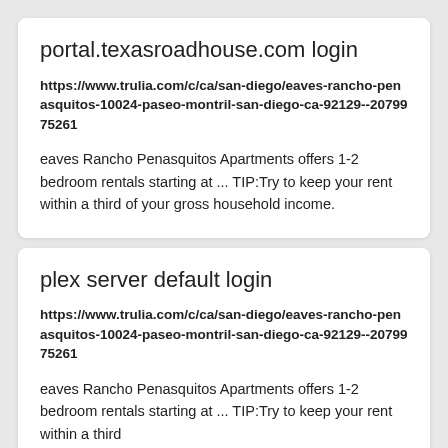portal.texasroadhouse.com login
https://www.trulia.com/c/ca/san-diego/eaves-rancho-penasquitos-10024-paseo-montril-san-diego-ca-92129--2079975261
eaves Rancho Penasquitos Apartments offers 1-2 bedroom rentals starting at ... TIP:Try to keep your rent within a third of your gross household income.
plex server default login
https://www.trulia.com/c/ca/san-diego/eaves-rancho-penasquitos-10024-paseo-montril-san-diego-ca-92129--2079975261
eaves Rancho Penasquitos Apartments offers 1-2 bedroom rentals starting at ... TIP:Try to keep your rent within a third